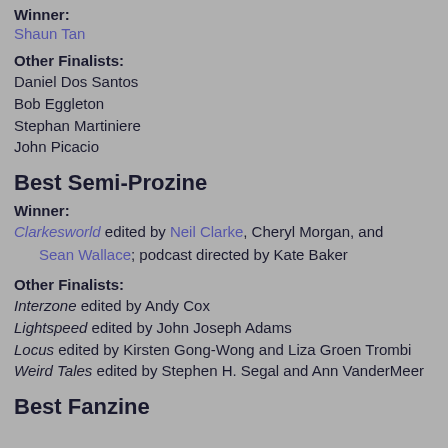Winner:
Shaun Tan
Other Finalists:
Daniel Dos Santos
Bob Eggleton
Stephan Martiniere
John Picacio
Best Semi-Prozine
Winner:
Clarkesworld edited by Neil Clarke, Cheryl Morgan, and Sean Wallace; podcast directed by Kate Baker
Other Finalists:
Interzone edited by Andy Cox
Lightspeed edited by John Joseph Adams
Locus edited by Kirsten Gong-Wong and Liza Groen Trombi
Weird Tales edited by Stephen H. Segal and Ann VanderMeer
Best Fanzine